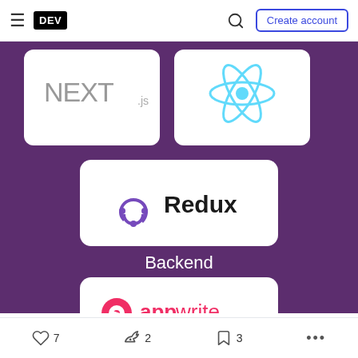DEV — Create account
[Figure (illustration): Purple background tech stack diagram showing Next.js and React logos in white rounded boxes on top row, Redux logo in white rounded box in middle, 'Backend' text label, and Appwrite logo in white rounded box at bottom]
Next.js
7 likes  2 unicorns  3 bookmarks  ...